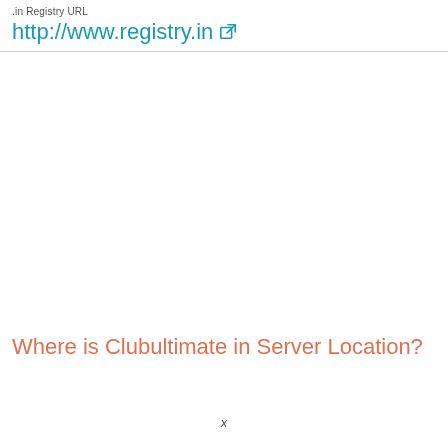.in Registry URL
http://www.registry.in
Where is Clubultimate in Server Location?